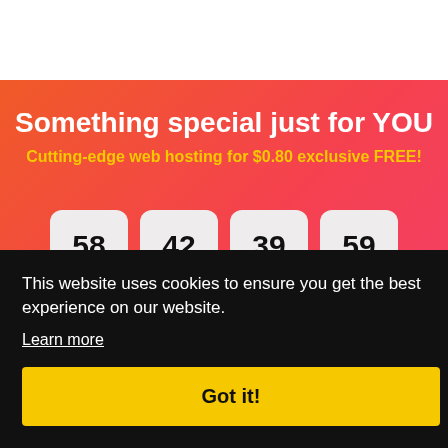Something special just for YOU
Cutting-edge web hosting for $0.80 exclusive FREE!
[Figure (other): Countdown timer showing four boxes with numbers: 58, 42, 39, 59]
This website uses cookies to ensure you get the best experience on our website.
Learn more
Got it!